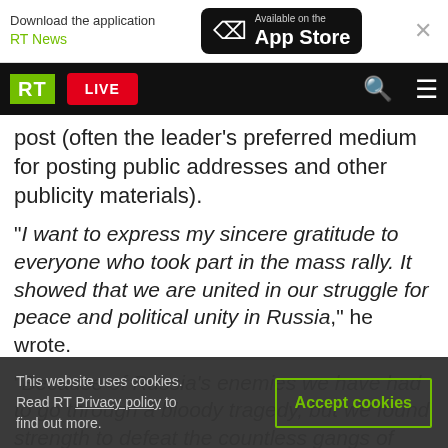Download the application RT News | Available on the App Store
RT LIVE
post (often the leader's preferred medium for posting public addresses and other publicity materials).
“I want to express my sincere gratitude to everyone who took part in the mass rally. It showed that we are united in our struggle for peace and political unity in Russia,” he wrote.
“Because of Russia’s enemies we have had to go through a bloody tragedy, but we found strength to defeat the countless gangs of Western special
This website uses cookies. Read RT Privacy policy to find out more.
Accept cookies